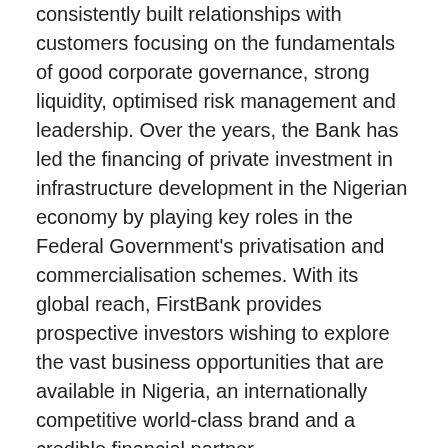consistently built relationships with customers focusing on the fundamentals of good corporate governance, strong liquidity, optimised risk management and leadership. Over the years, the Bank has led the financing of private investment in infrastructure development in the Nigerian economy by playing key roles in the Federal Government's privatisation and commercialisation schemes. With its global reach, FirstBank provides prospective investors wishing to explore the vast business opportunities that are available in Nigeria, an internationally competitive world-class brand and a credible financial partner.
FirstBank has been named “Most Valuable Bank Brand in Nigeria” six times in a row (2011 – 2016) by the globally renowned “The Banker Magazine” of the Financial Times Group; “Best Retail Bank in Nigeria” for seven consecutive years (2011 – 2017) by the Asian